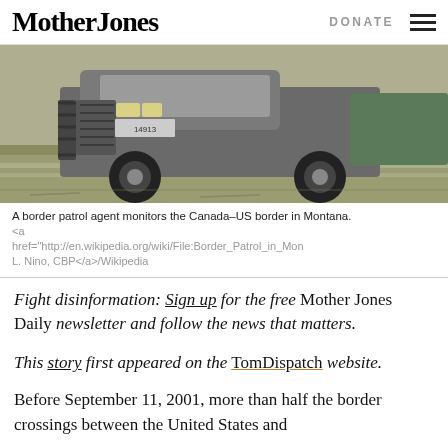Mother Jones | DONATE
[Figure (photo): A border patrol agent vehicle (SUV/truck with brush guard) monitors the Canada-US border in Montana, field with frost visible in background]
A border patrol agent monitors the Canada–US border in Montana. <a href="http://en.wikipedia.org/wiki/File:Border_Patrol_in_Mon L. Nino, CBP</a>/Wikipedia
Fight disinformation: Sign up for the free Mother Jones Daily newsletter and follow the news that matters.
This story first appeared on the TomDispatch website.
Before September 11, 2001, more than half the border crossings between the United States and